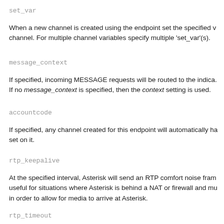set_var
When a new channel is created using the endpoint set the specified v... channel. For multiple channel variables specify multiple 'set_var'(s).
message_context
If specified, incoming MESSAGE requests will be routed to the indica... If no message_context is specified, then the context setting is used.
accountcode
If specified, any channel created for this endpoint will automatically ha... set on it.
rtp_keepalive
At the specified interval, Asterisk will send an RTP comfort noise fram... useful for situations where Asterisk is behind a NAT or firewall and mu... in order to allow for media to arrive at Asterisk.
rtp_timeout
This option configures the number of seconds without RTP (while off h... considering a channel as dead. When the number of seconds is re...